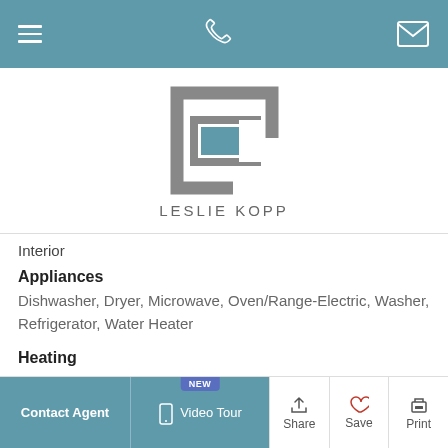Navigation bar with hamburger menu, phone icon, and mail icon
[Figure (logo): Leslie Kopp logo: stylized geometric bracket shape in gray with teal/blue rectangle inside, text LESLIE KOPP below]
Interior
Appliances
Dishwasher, Dryer, Microwave, Oven/Range-Electric, Washer, Refrigerator, Water Heater
Heating
Heat Pump(s)
Cooling
Central A/C
Contact Agent | NEW Video Tour | Share | Save | Print